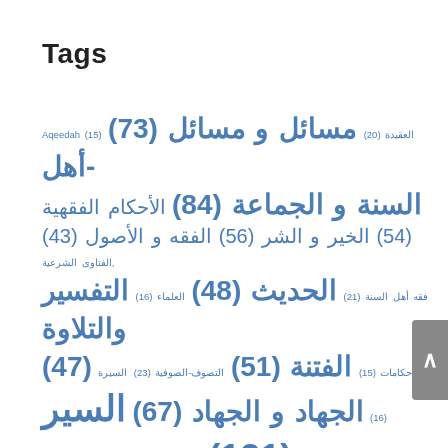Tags
Aqeedah (15) [Urdu] (20) [Urdu large] (73) [Urdu-large] (84) [Urdu medium] (54) [Urdu] (56) [Urdu] (43) [Urdu small, small] (21) [Urdu] (48) [Urdu] (16) [Urdu text] (47) [Urdu text] (15) [Urdu] (51) [Urdu-text] (23) [Urdu] (16) [Urdu] (67) [Urdu] (121) [Urdu (Urdu text)] (72) [Urdu small] (20) [Urdu text] (83) [Urdu] (64) [Urdu long] (90) [Urdu] (29) [Urdu] (56) [Urdu text] (16) [Urdu-text] (34) [Urdu text] (64) [Urdu] (46) [Urdu text and ...]